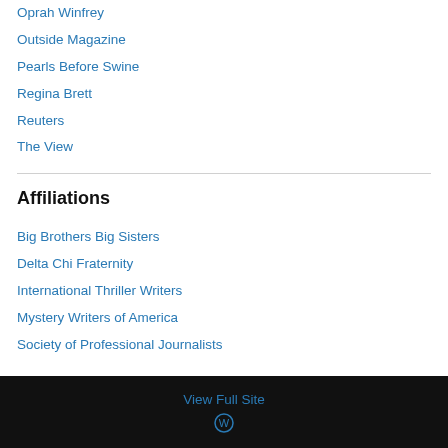Oprah Winfrey
Outside Magazine
Pearls Before Swine
Regina Brett
Reuters
The View
Affiliations
Big Brothers Big Sisters
Delta Chi Fraternity
International Thriller Writers
Mystery Writers of America
Society of Professional Journalists
View Full Site